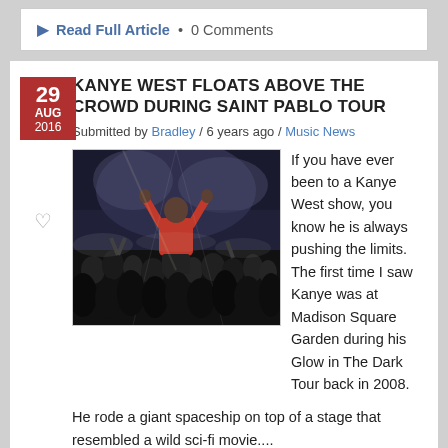Read Full Article • 0 Comments
KANYE WEST FLOATS ABOVE THE CROWD DURING SAINT PABLO TOUR
Submitted by Bradley / 6 years ago / Music News
[Figure (photo): Concert photo showing a performer in a red top with arms raised above a crowd at what appears to be a Kanye West show]
If you have ever been to a Kanye West show, you know he is always pushing the limits. The first time I saw Kanye was at Madison Square Garden during his Glow in The Dark Tour back in 2008. He rode a giant spaceship on top of a stage that resembled a wild sci-fi movie....